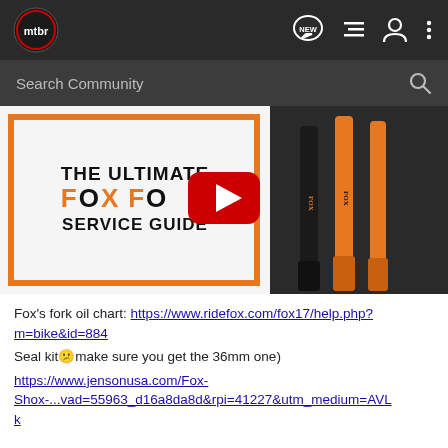mtbr [navigation bar with NEW, list, user, menu icons]
[Figure (screenshot): Search Community bar with magnifying glass icon on dark background]
[Figure (screenshot): YouTube video thumbnail showing 'THE ULTIMATE FOX FORK SERVICE GUIDE' with red play button, Fox forks visible on right side]
Fox's fork oil chart: https://www.ridefox.com/fox17/help.php?m=bike&id=884
Seal kit😕make sure you get the 36mm one)
https://www.jensonusa.com/Fox-Shox-...vad=55963_d16a8da8d&rpi=41227&utm_medium=AVLk